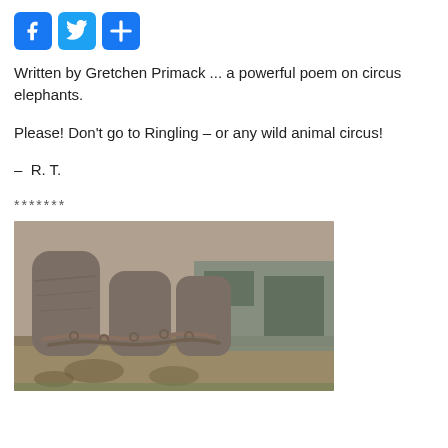[Figure (logo): Three social media share buttons: Facebook (blue f), Twitter (blue bird), and a blue plus/share button]
Written by Gretchen Primack ... a powerful poem on circus elephants.
Please! Don't go to Ringling – or any wild animal circus!
– R. T.
*******
[Figure (photo): Close-up photograph of elephant legs chained with heavy metal chains, standing on dirt ground near a trailer or truck.]